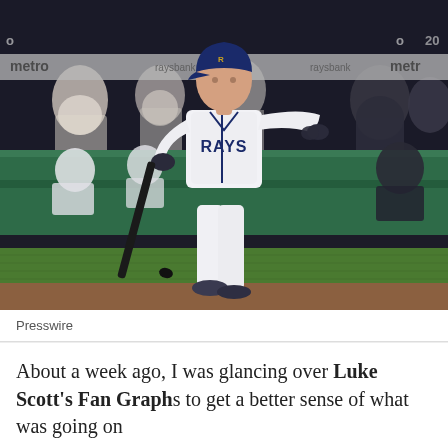[Figure (photo): A Tampa Bay Rays baseball player in white uniform holding a bat, standing on the field with teammates visible in the dugout behind him. The player wears the Rays jersey and dark batting gloves. Green dugout walls and field visible in background.]
Presswire
About a week ago, I was glancing over Luke Scott's Fan Graph...